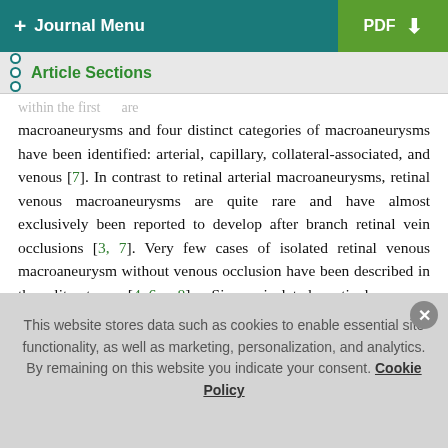+ Journal Menu | PDF
Article Sections
macroaneurysms and four distinct categories of macroaneurysms have been identified: arterial, capillary, collateral-associated, and venous [7]. In contrast to retinal arterial macroaneurysms, retinal venous macroaneurysms are quite rare and have almost exclusively been reported to develop after branch retinal vein occlusions [3, 7]. Very few cases of isolated retinal venous macroaneurysm without venous occlusion have been described in the literature [4–6, 8]. Since isolated retinal venous macroaneurysm is so rare, the course and complications of these lesions are not well-known. After a thorough Medline search, we could find few case reports in which acute macular
This website stores data such as cookies to enable essential site functionality, as well as marketing, personalization, and analytics. By remaining on this website you indicate your consent. Cookie Policy